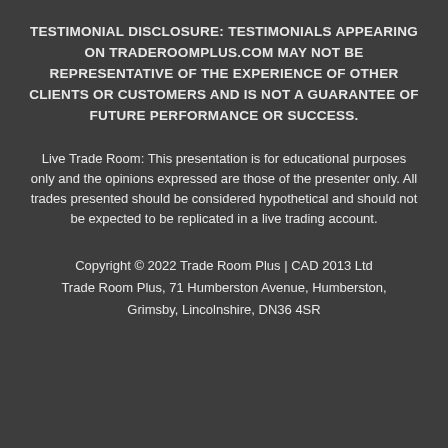TESTIMONIAL DISCLOSURE: TESTIMONIALS APPEARING ON TRADEROOMPLUS.COM MAY NOT BE REPRESENTATIVE OF THE EXPERIENCE OF OTHER CLIENTS OR CUSTOMERS AND IS NOT A GUARANTEE OF FUTURE PERFORMANCE OR SUCCESS.
Live Trade Room: This presentation is for educational purposes only and the opinions expressed are those of the presenter only. All trades presented should be considered hypothetical and should not be expected to be replicated in a live trading account.
Copyright © 2022 Trade Room Plus | CAD 2013 Ltd
Trade Room Plus, 71 Humberston Avenue, Humberston, Grimsby, Lincolnshire, DN36 4SR